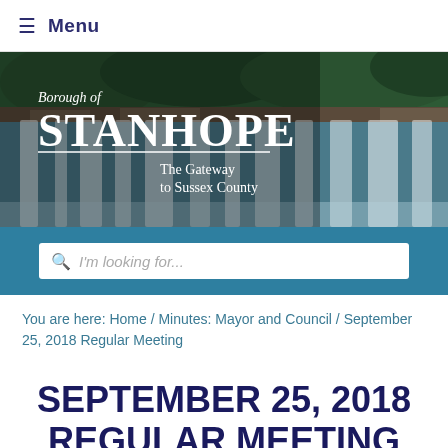≡  Menu
[Figure (photo): Borough of Stanhope banner with waterfall background. Text reads: Borough of, STANHOPE, The Gateway to Sussex County]
I'm looking for...
You are here: Home / Minutes: Mayor and Council / September 25, 2018 Regular Meeting
SEPTEMBER 25, 2018 REGULAR MEETING